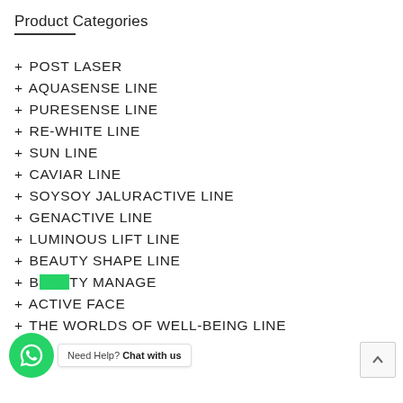Product Categories
+ POST LASER
+ AQUASENSE LINE
+ PURESENSE LINE
+ RE-WHITE LINE
+ SUN LINE
+ CAVIAR LINE
+ SOYSOY JALURACTIVE LINE
+ GENACTIVE LINE
+ LUMINOUS LIFT LINE
+ BEAUTY SHAPE LINE
+ BEAUTY MANAGE
+ ACTIVE FACE
+ THE WORLDS OF WELL-BEING LINE